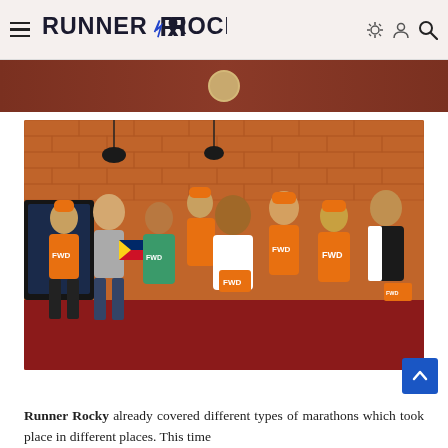Runner Rocky - navigation bar with logo, hamburger menu, and search icon
[Figure (photo): Dark reddish-brown background strip at the top of the page content area, partially visible from previous scroll]
[Figure (photo): Group photo of approximately 8 people wearing orange FWD branded shirts, hats and clothing, posing together indoors with a brick wall background. Some hold FWD branded materials and a Philippine flag.]
Runner Rocky already covered different types of marathons which took place in different places. This time